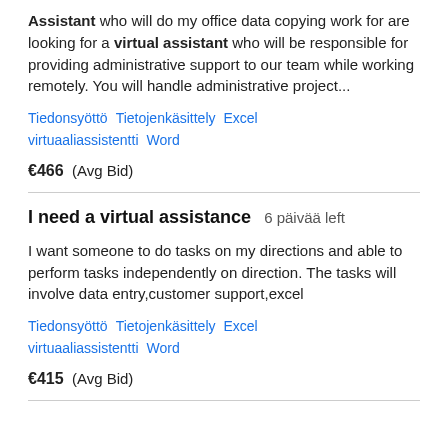Assistant who will do my office data copying work for are looking for a virtual assistant who will be responsible for providing administrative support to our team while working remotely. You will handle administrative project...
Tiedonsyöttö   Tietojenkäsittely   Excel   virtuaaliassistentti   Word
€466  (Avg Bid)
I need a virtual assistance   6 päivää left
I want someone to do tasks on my directions and able to perform tasks independently on direction. The tasks will involve data entry,customer support,excel
Tiedonsyöttö   Tietojenkäsittely   Excel   virtuaaliassistentti   Word
€415  (Avg Bid)